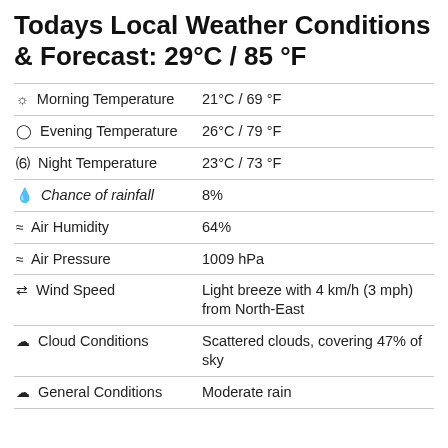Todays Local Weather Conditions & Forecast: 29°C / 85 °F
| Condition | Value |
| --- | --- |
| ☼ Morning Temperature | 21°C / 69 °F |
| ⊙ Evening Temperature | 26°C / 79 °F |
| ☽ Night Temperature | 23°C / 73 °F |
| 💧 Chance of rainfall | 8% |
| ≈ Air Humidity | 64% |
| ≈ Air Pressure | 1009 hPa |
| ⇌ Wind Speed | Light breeze with 4 km/h (3 mph) from North-East |
| ● Cloud Conditions | Scattered clouds, covering 47% of sky |
| ● General Conditions | Moderate rain |